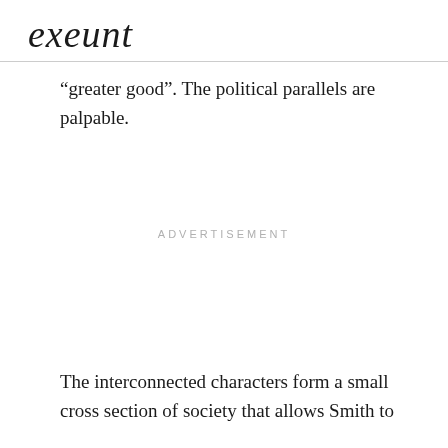exeunt
“greater good”. The political parallels are palpable.
ADVERTISEMENT
The interconnected characters form a small cross section of society that allows Smith to